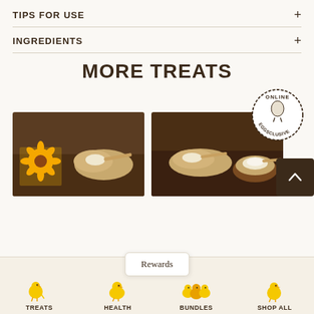TIPS FOR USE
INGREDIENTS
MORE TREATS
[Figure (photo): Product photo showing grain/powder ingredients with sunflower and wooden spoon on dark wood background]
[Figure (photo): Product photo showing grain/powder ingredients with wooden spoon and bowl on dark wood background]
[Figure (illustration): Online Eggsclusive badge - circular badge with egg illustration and text ONLINE EGGSCLUSIVE]
TREATS   HEALTH   BUNDLES   SHOP ALL   Rewards